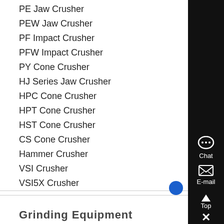PE Jaw Crusher
PEW Jaw Crusher
PF Impact Crusher
PFW Impact Crusher
PY Cone Crusher
HJ Series Jaw Crusher
HPC Cone Crusher
HPT Cone Crusher
HST Cone Crusher
CS Cone Crusher
Hammer Crusher
VSI Crusher
VSI5X Crusher
Grinding Equipment
Raymond Mill
Ball Mill